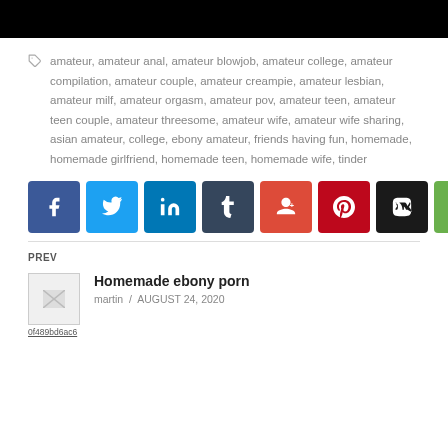[Figure (other): Black banner/image bar at top of page]
amateur, amateur anal, amateur blowjob, amateur college, amateur compilation, amateur couple, amateur creampie, amateur lesbian, amateur milf, amateur orgasm, amateur pov, amateur teen, amateur teen couple, amateur threesome, amateur wife, amateur wife sharing, asian amateur, college, ebony amateur, friends having fun, homemade, homemade girlfriend, homemade teen, homemade wife, tinder
[Figure (infographic): Row of social share buttons: Facebook (blue), Twitter (light blue), LinkedIn (dark blue), Tumblr (dark navy), Google+ (red-orange), Pinterest (dark red), VK (black), Email (green)]
PREV
[Figure (photo): Small thumbnail image placeholder labeled 0f489bd6ac6]
Homemade ebony porn
martin / AUGUST 24, 2020